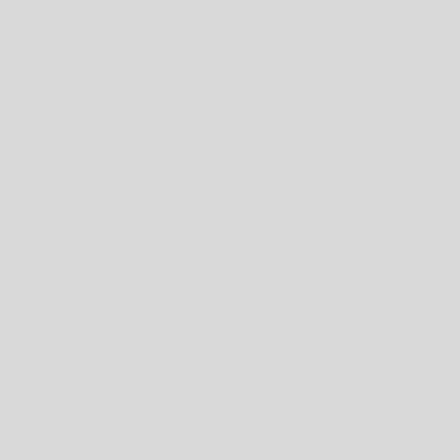pris gua The los we tax sm bus ow and any dist by go gro ent too big At the Tea Par